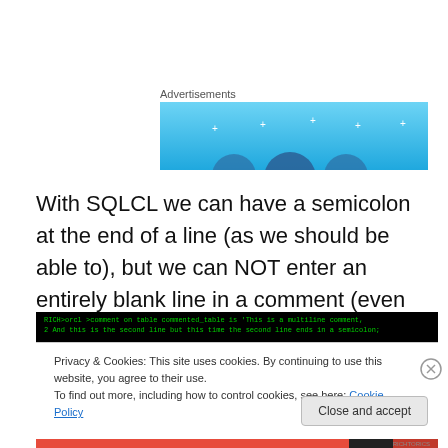Advertisements
[Figure (illustration): Light blue advertisement banner with circular decorative elements and small star/plus shapes]
With SQLCL we can have a semicolon at the end of a line (as we should be able to), but we can NOT enter an entirely blank line in a comment (even though we should be able to).
[Figure (screenshot): Terminal screenshot showing green text on black background: RICH>orcl >comment on table commented_table is 'This is a multiline comment. 2  And this is the second line but this time the second line ends in a semicolon;']
Privacy & Cookies: This site uses cookies. By continuing to use this website, you agree to their use.
To find out more, including how to control cookies, see here: Cookie Policy
Close and accept